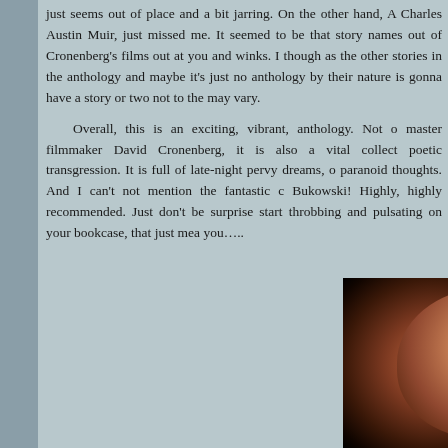just seems out of place and a bit jarring. On the other hand, Charles Austin Muir, just missed me. It seemed to be that story names out of Cronenberg's films out at you and winks. I thought as the other stories in the anthology and maybe it's just no anthology by their nature is gonna have a story or two not to the may vary.
Overall, this is an exciting, vibrant, anthology. Not o master filmmaker David Cronenberg, it is also a vital collect poetic transgression. It is full of late-night pervy dreams, o paranoid thoughts. And I can't not mention the fantastic c Bukowski! Highly, highly recommended. Just don't be surpris start throbbing and pulsating on your bookcase, that just mea you…..
[Figure (photo): A woman with red/auburn hair against a dark background, partially lit, face visible with dramatic lighting]